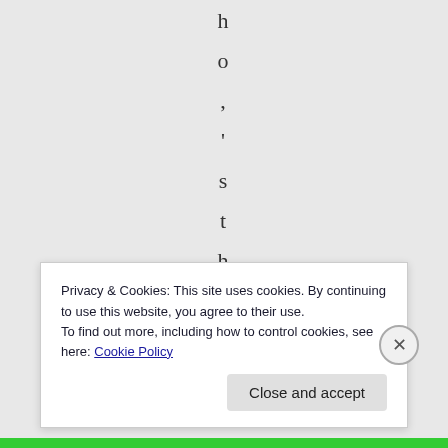h o , ' s t h e p a r
Privacy & Cookies: This site uses cookies. By continuing to use this website, you agree to their use.
To find out more, including how to control cookies, see here: Cookie Policy
Close and accept